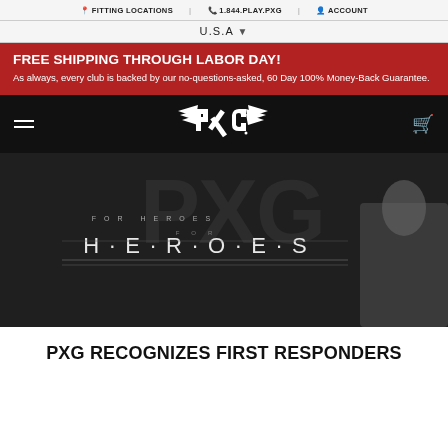FITTING LOCATIONS | 1.844.PLAY.PXG | ACCOUNT
U.S.A
FREE SHIPPING THROUGH LABOR DAY! As always, every club is backed by our no-questions-asked, 60 Day 100% Money-Back Guarantee.
[Figure (logo): PXG logo in white on black navigation bar with hamburger menu and cart icon]
[Figure (photo): Black and white photo with text overlay reading 'FOR HEROES' with H·E·R·O·E·S lettering on dark background, partial figure visible on right]
PXG RECOGNIZES FIRST RESPONDERS